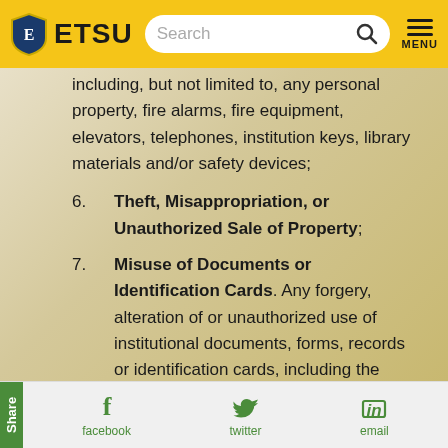ETSU — Search — MENU
including, but not limited to, any personal property, fire alarms, fire equipment, elevators, telephones, institution keys, library materials and/or safety devices;
6. Theft, Misappropriation, or Unauthorized Sale of Property;
7. Misuse of Documents or Identification Cards. Any forgery, alteration of or unauthorized use of institutional documents, forms, records or identification cards, including the giving of any false
Share  facebook  twitter  email